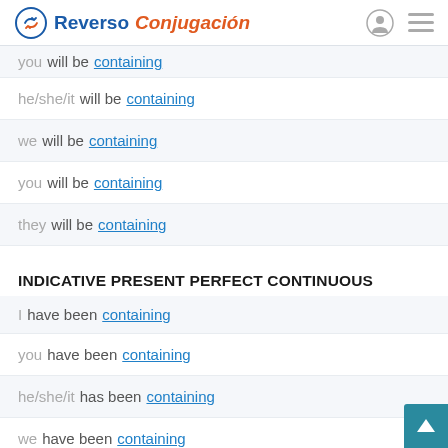Reverso Conjugación
you will be containing
he/she/it will be containing
we will be containing
you will be containing
they will be containing
INDICATIVE PRESENT PERFECT CONTINUOUS
I have been containing
you have been containing
he/she/it has been containing
we have been containing